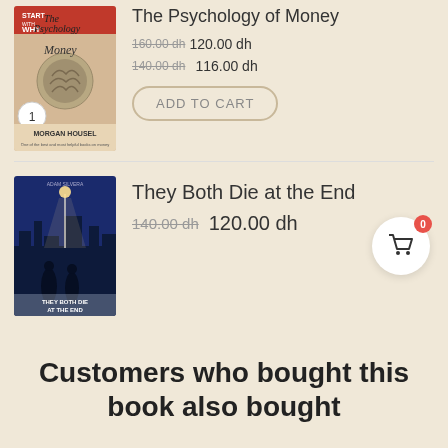[Figure (photo): Book cover of 'The Psychology of Money' by Morgan Housel — beige/cream tones with brain illustration]
The Psychology of Money
160.00 dh  120.00 dh (strikethrough: 140.00 dh)  116.00 dh
ADD TO CART
[Figure (photo): Book cover of 'They Both Die at the End' by Adam Silvera — dark blue night scene with silhouettes]
They Both Die at the End
140.00 dh  120.00 dh
Customers who bought this book also bought